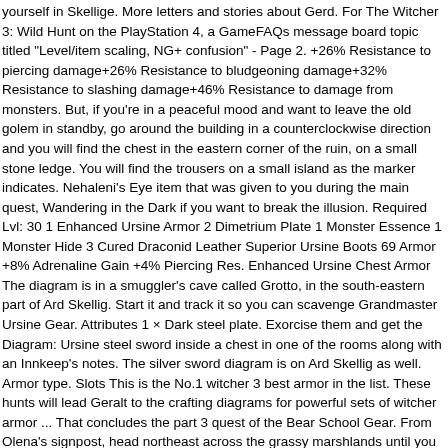yourself in Skellige. More letters and stories about Gerd. For The Witcher 3: Wild Hunt on the PlayStation 4, a GameFAQs message board topic titled "Level/item scaling, NG+ confusion" - Page 2. +26% Resistance to piercing damage+26% Resistance to bludgeoning damage+32% Resistance to slashing damage+46% Resistance to damage from monsters. But, if you're in a peaceful mood and want to leave the old golem in standby, go around the building in a counterclockwise direction and you will find the chest in the eastern corner of the ruin, on a small stone ledge. You will find the trousers on a small island as the marker indicates. Nehaleni's Eye item that was given to you during the main quest, Wandering in the Dark if you want to break the illusion. Required Lvl: 30 1 Enhanced Ursine Armor 2 Dimetrium Plate 1 Monster Essence 1 Monster Hide 3 Cured Draconid Leather Superior Ursine Boots 69 Armor +8% Adrenaline Gain +4% Piercing Res. Enhanced Ursine Chest Armor The diagram is in a smuggler's cave called Grotto, in the south-eastern part of Ard Skellig. Start it and track it so you can scavenge Grandmaster Ursine Gear. Attributes 1 × Dark steel plate. Exorcise them and get the Diagram: Ursine steel sword inside a chest in one of the rooms along with an Innkeep's notes. The silver sword diagram is on Ard Skellig as well. Armor type. Slots This is the No.1 witcher 3 best armor in the list. These hunts will lead Geralt to the crafting diagrams for powerful sets of witcher armor ... That concludes the part 3 quest of the Bear School Gear. From Olena's signpost, head northeast across the grassy marshlands until you reach the